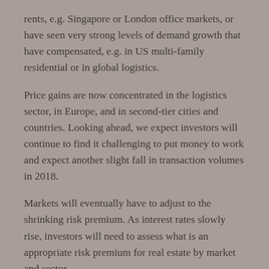rents, e.g. Singapore or London office markets, or have seen very strong levels of demand growth that have compensated, e.g. in US multi-family residential or in global logistics.
Price gains are now concentrated in the logistics sector, in Europe, and in second-tier cities and countries. Looking ahead, we expect investors will continue to find it challenging to put money to work and expect another slight fall in transaction volumes in 2018.
Markets will eventually have to adjust to the shrinking risk premium. As interest rates slowly rise, investors will need to assess what is an appropriate risk premium for real estate by market and sector.
We expect the remainder of 2018 to be a continuation of the current relative calm. Investors should be reassured that slower appreciation was expected and the transition the re fo...